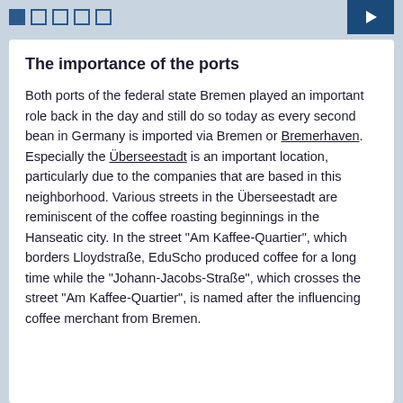[Navigation icons and button]
The importance of the ports
Both ports of the federal state Bremen played an important role back in the day and still do so today as every second bean in Germany is imported via Bremen or Bremerhaven. Especially the Überseestadt is an important location, particularly due to the companies that are based in this neighborhood. Various streets in the Überseestadt are reminiscent of the coffee roasting beginnings in the Hanseatic city. In the street "Am Kaffee-Quartier", which borders Lloydstraße, EduScho produced coffee for a long time while the "Johann-Jacobs-Straße", which crosses the street "Am Kaffee-Quartier", is named after the influencing coffee merchant from Bremen.